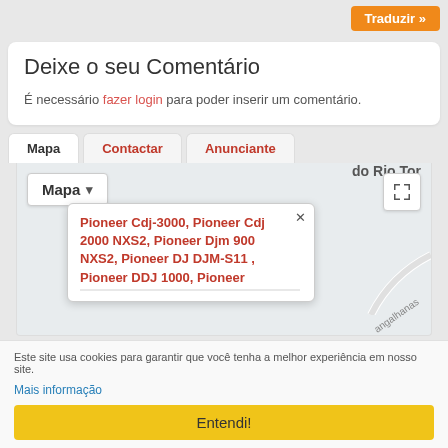[Figure (screenshot): Orange Traduzir button in top right corner]
Deixe o seu Comentário
É necessário fazer login para poder inserir um comentário.
Mapa  |  Contactar  |  Anunciante  (tabs)
[Figure (map): Interactive map with Mapa dropdown selector and fullscreen button, showing a popup with Pioneer DJ equipment listing text: Pioneer Cdj-3000, Pioneer Cdj 2000 NXS2, Pioneer Djm 900 NXS2, Pioneer DJ DJM-S11, Pioneer DDJ 1000, Pioneer...]
Este site usa cookies para garantir que você tenha a melhor experiência em nosso site.
Mais informação
Entendi!